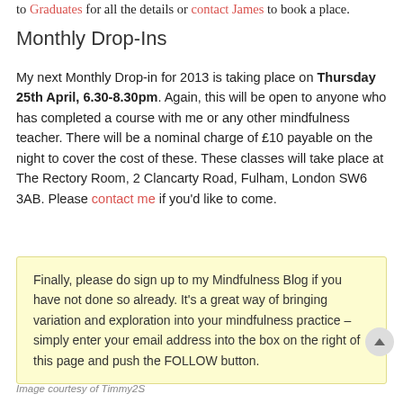to Graduates for all the details or contact James to book a place.
Monthly Drop-Ins
My next Monthly Drop-in for 2013 is taking place on Thursday 25th April, 6.30-8.30pm. Again, this will be open to anyone who has completed a course with me or any other mindfulness teacher. There will be a nominal charge of £10 payable on the night to cover the cost of these. These classes will take place at The Rectory Room, 2 Clancarty Road, Fulham, London SW6 3AB. Please contact me if you'd like to come.
Finally, please do sign up to my Mindfulness Blog if you have not done so already. It's a great way of bringing variation and exploration into your mindfulness practice – simply enter your email address into the box on the right of this page and push the FOLLOW button.
Image courtesy of Timmy2S